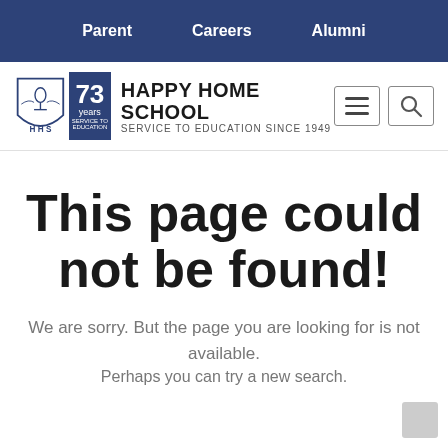Parent   Careers   Alumni
[Figure (logo): Happy Home School logo with shield emblem and 73 years badge. Text: HAPPY HOME SCHOOL SERVICE TO EDUCATION SINCE 1949]
This page could not be found!
We are sorry. But the page you are looking for is not available.
Perhaps you can try a new search.